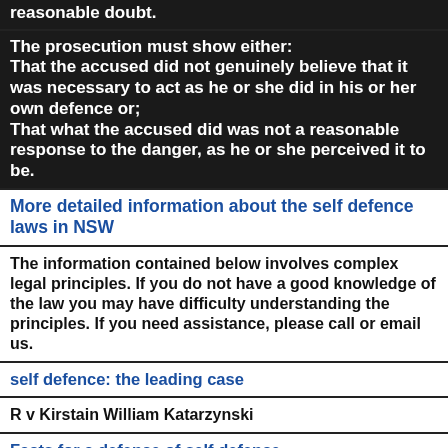reasonable doubt.
The prosecution must show either:
That the accused did not genuinely believe that it was necessary to act as he or she did in his or her own defence or;
That what the accused did was not a reasonable response to the danger, as he or she perceived it to be.
More detailed information about the self defence laws in NSW
The information contained below involves complex legal principles. If you do not have a good knowledge of the law you may have difficulty understanding the principles. If you need assistance, please call or email us.
self defence: the leading case
R v Kirstain William Katarzynski
Facts for a defence of self defence